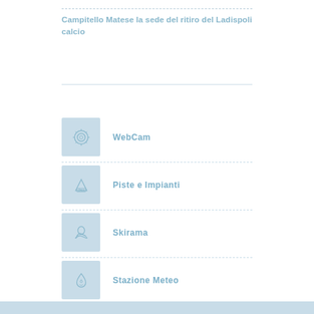Campitello Matese la sede del ritiro del Ladispoli calcio
WebCam
Piste e Impianti
Skirama
Stazione Meteo